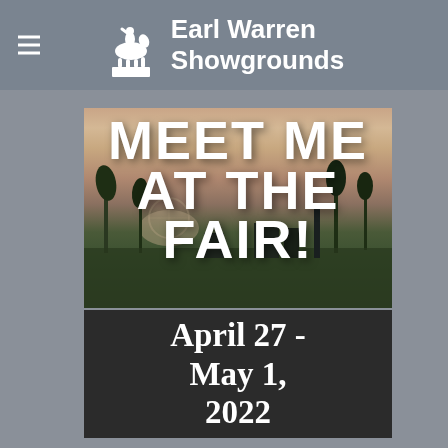Earl Warren Showgrounds
[Figure (photo): Promotional banner image showing a sunset skyline with palm trees and the text 'MEET ME AT THE FAIR!' overlaid in large white bold letters, followed by a dark card showing 'April 27 - May 1, 2022']